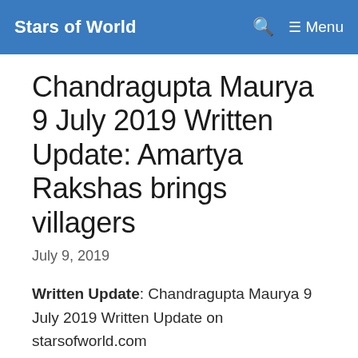Stars of World
Chandragupta Maurya 9 July 2019 Written Update: Amartya Rakshas brings villagers
July 9, 2019
Written Update: Chandragupta Maurya 9 July 2019 Written Update on starsofworld.com
Chanakya discloses his arrangement to Chandragupta that Dhananand's most